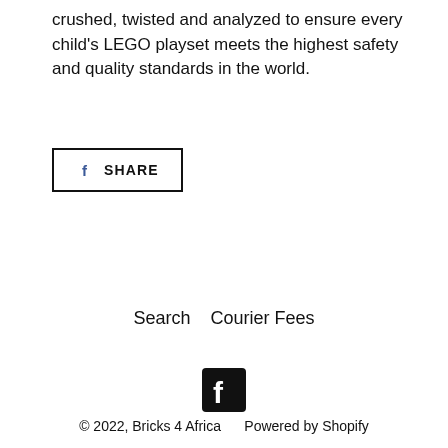crushed, twisted and analyzed to ensure every child's LEGO playset meets the highest safety and quality standards in the world.
[Figure (other): Facebook Share button with Facebook icon and SHARE text, outlined rectangle button]
Search   Courier Fees
[Figure (logo): Facebook logo icon, white f on black square background]
© 2022, Bricks 4 Africa      Powered by Shopify